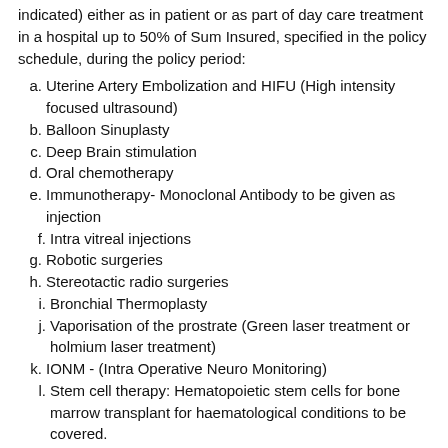indicated) either as in patient or as part of day care treatment in a hospital up to 50% of Sum Insured, specified in the policy schedule, during the policy period:
a. Uterine Artery Embolization and HIFU (High intensity focused ultrasound)
b. Balloon Sinuplasty
c. Deep Brain stimulation
d. Oral chemotherapy
e. Immunotherapy- Monoclonal Antibody to be given as injection
f. Intra vitreal injections
g. Robotic surgeries
h. Stereotactic radio surgeries
i. Bronchial Thermoplasty
j. Vaporisation of the prostrate (Green laser treatment or holmium laser treatment)
k. IONM - (Intra Operative Neuro Monitoring)
l. Stem cell therapy: Hematopoietic stem cells for bone marrow transplant for haematological conditions to be covered.
4.8 The expenses that are not covered in this policy are placed under List-I of Annexure-A. The list of expenses that are to be